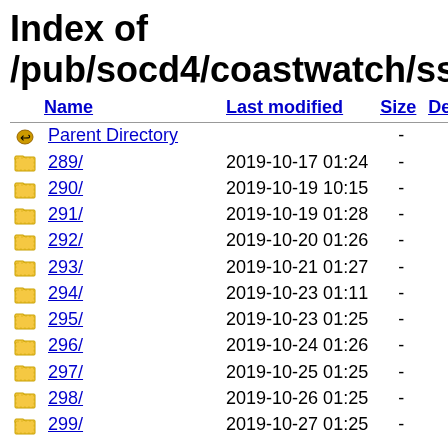Index of /pub/socd4/coastwatch/sst/nrt/ah
| Name | Last modified | Size | Description |
| --- | --- | --- | --- |
| Parent Directory |  | - |  |
| 289/ | 2019-10-17 01:24 | - |  |
| 290/ | 2019-10-19 10:15 | - |  |
| 291/ | 2019-10-19 01:28 | - |  |
| 292/ | 2019-10-20 01:26 | - |  |
| 293/ | 2019-10-21 01:27 | - |  |
| 294/ | 2019-10-23 01:11 | - |  |
| 295/ | 2019-10-23 01:25 | - |  |
| 296/ | 2019-10-24 01:26 | - |  |
| 297/ | 2019-10-25 01:25 | - |  |
| 298/ | 2019-10-26 01:25 | - |  |
| 299/ | 2019-10-27 01:25 | - |  |